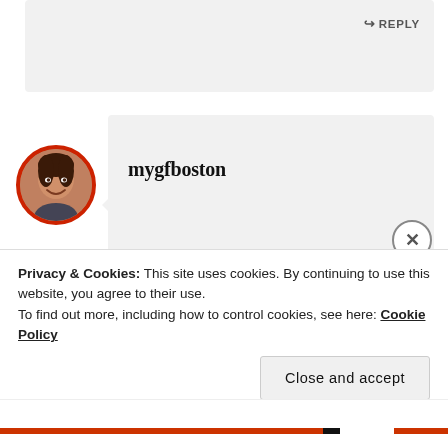[Figure (screenshot): Top of a previous comment box (partially visible), light gray background with REPLY link in upper right]
↪ REPLY
[Figure (photo): Circular avatar photo of a smiling woman with red border, representing user mygfboston]
mygfboston
Thank you! It's a really lovely race all around–highly recommended 🙂
Privacy & Cookies: This site uses cookies. By continuing to use this website, you agree to their use.
To find out more, including how to control cookies, see here: Cookie Policy
Close and accept